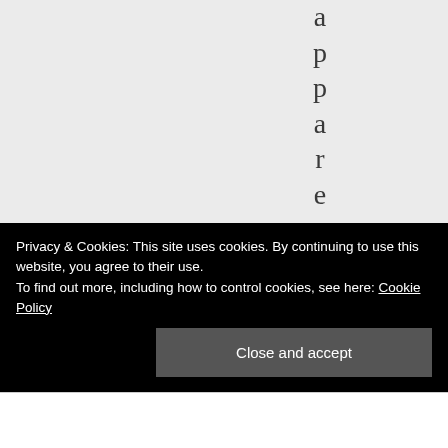apparently no
Privacy & Cookies: This site uses cookies. By continuing to use this website, you agree to their use.
To find out more, including how to control cookies, see here: Cookie Policy
Close and accept